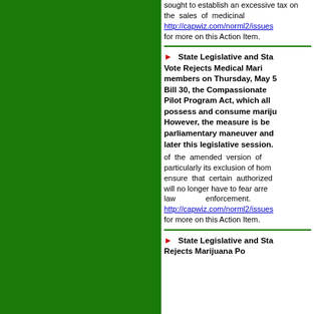sought to establish an excessive tax on the sales of medicinal http://capwiz.com/norml2/issues for more on this Action Item.
State Legislative and State Vote Rejects Medical Marijuana members on Thursday, May 5 Bill 30, the Compassionate Pilot Program Act, which all possess and consume marijuana However, the measure is be parliamentary maneuver and later this legislative session.
of the amended version of particularly its exclusion of home ensure that certain authorized will no longer have to fear arrest law enforcement. http://capwiz.com/norml2/issues for more on this Action Item.
State Legislative and Sta Rejects Marijuana Possession